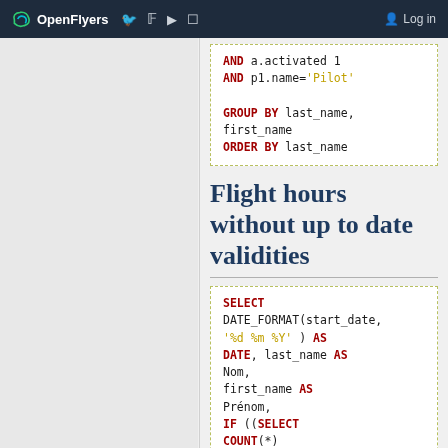OpenFlyers | Log in
AND a.activated 1
AND p1.name='Pilot'

GROUP BY last_name,
first_name
ORDER BY last_name
Flight hours without up to date validities
SELECT
DATE_FORMAT(start_date,
'%d %m %Y' ) AS
DATE, last_name AS
Nom,
first_name AS
Prénom,
IF ((SELECT
COUNT(*)
      FROM
flight_pilot fp2
      WHERE